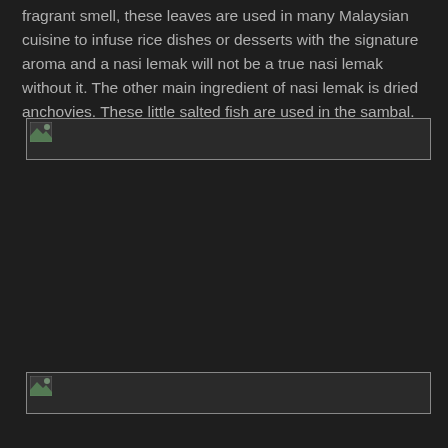fragrant smell, these leaves are used in many Malaysian cuisine to infuse rice dishes or desserts with the signature aroma and a nasi lemak will not be a true nasi lemak without it. The other main ingredient of nasi lemak is dried anchovies. These little salted fish are used in the sambal.
[Figure (photo): A broken/unloaded image placeholder near the top of the page]
[Figure (photo): A broken/unloaded image placeholder near the bottom of the page]